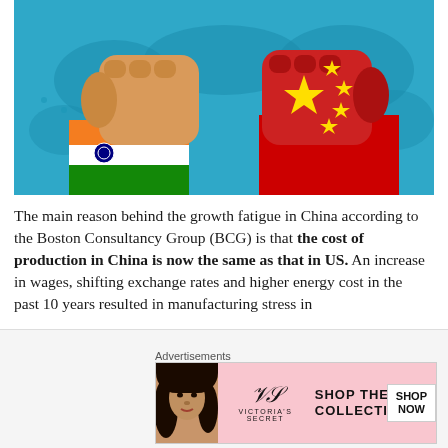[Figure (illustration): Illustration of two fists bumping — left fist colored with India flag (orange, white, green with Ashoka Chakra), right fist colored with China flag (red with yellow stars) — on a blue world map background]
The main reason behind the growth fatigue in China according to the Boston Consultancy Group (BCG) is that the cost of production in China is now the same as that in US. An increase in wages, shifting exchange rates and higher energy cost in the past 10 years resulted in manufacturing stress in
[Figure (illustration): Victoria's Secret advertisement banner: photo of a woman, VS logo, text SHOP THE COLLECTION, button SHOP NOW]